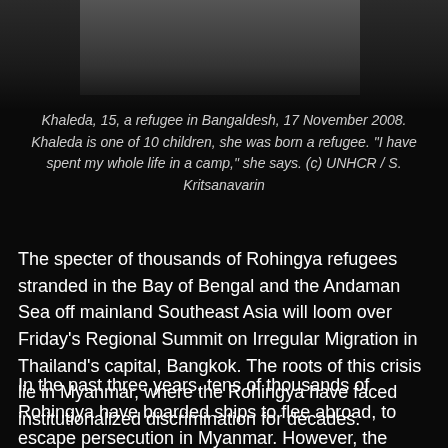[Figure (photo): Dark photograph, partially visible at top of page, showing a person, dark background]
Khaleda, 15, a refugee in Bangaldesh, 17 November 2008. Khaleda is one of 10 children, she was born a refugee. "I have spent my whole life in a camp," she says. (c) UNHCR / S. Kritsanavarin
The specter of thousands of Rohingya refugees stranded in the Bay of Bengal and the Andaman Sea off mainland Southeast Asia will loom over Friday's Regional Summit on Irregular Migration in Thailand's capital, Bangkok. The roots of this crisis lie in Myanmar, where the Rohingya have faced institutionalized discrimination for decades.
In the past three years, tens of thousands of Rohingya have boarded ships to flee abroad, to escape persecution in Myanmar. However, the issues they face are not new.